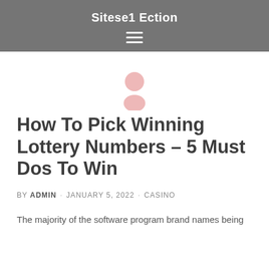Sitese1 Ection
[Figure (illustration): Avatar / person icon in pink/salmon color, circular head and body shape, centered above the article title]
How To Pick Winning Lottery Numbers – 5 Must Dos To Win
BY ADMIN · JANUARY 5, 2022 · CASINO
The majority of the software program brand names being